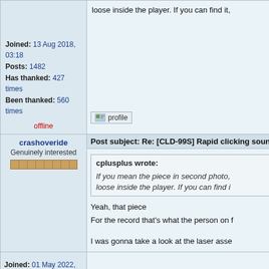loose inside the player. If you can find it,
Joined: 13 Aug 2018, 03:18
Posts: 1482
Has thanked: 427 times
Been thanked: 560 times
offline
profile
crashoveride
Genuinely interested
Post subject: Re: [CLD-99S] Rapid clicking sound
cplusplus wrote:
If you mean the piece in second photo,
loose inside the player. If you can find i
Yeah, that piece
For the record that's what the person on f
I was gonna take a look at the laser asse
Joined: 01 May 2022, 00:30
Posts: 35
Location: United States
Has thanked: 16 times
Been thanked: 6 times
offline
profile
crashoveride
Post subject: Re: [CLD-99S] Rapid clicking sound